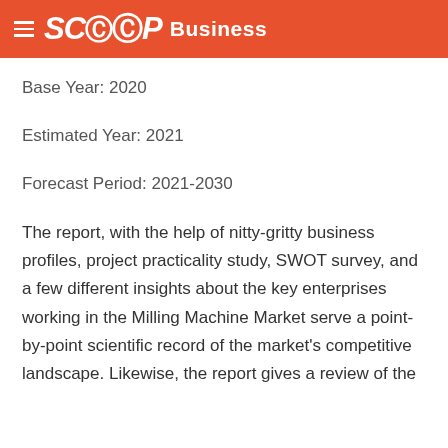SCOOP Business
Base Year: 2020
Estimated Year: 2021
Forecast Period: 2021-2030
The report, with the help of nitty-gritty business profiles, project practicality study, SWOT survey, and a few different insights about the key enterprises working in the Milling Machine Market serve a point-by-point scientific record of the market's competitive landscape. Likewise, the report gives a review of the effects of the key improvements on the future development and